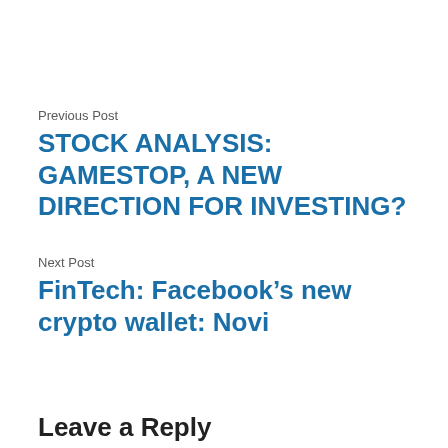Previous Post
STOCK ANALYSIS: GAMESTOP, A NEW DIRECTION FOR INVESTING?
Next Post
FinTech: Facebook’s new crypto wallet: Novi
Leave a Reply